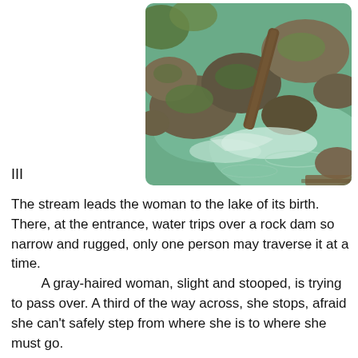[Figure (photo): Close-up photograph of rocky stream with flowing water, mossy rocks, and a wooden branch or log visible. Clear water cascades over stones.]
III
The stream leads the woman to the lake of its birth. There, at the entrance, water trips over a rock dam so narrow and rugged, only one person may traverse it at a time.
    A gray-haired woman, slight and stooped, is trying to pass over. A third of the way across, she stops, afraid she can't safely step from where she is to where she must go.
    Dawdling nearby in the stream is a middle-aged man, pant legs rolled above his knees. “Hold out your hand,” he says to the woman, sploshing toward her. “I’ll keep you from falling.”
    The gray-haired woman stretches out her hand in trust. The stranger takes it lightly, like a dance partner.
    She takes the big, necessary step. He releases her hand.